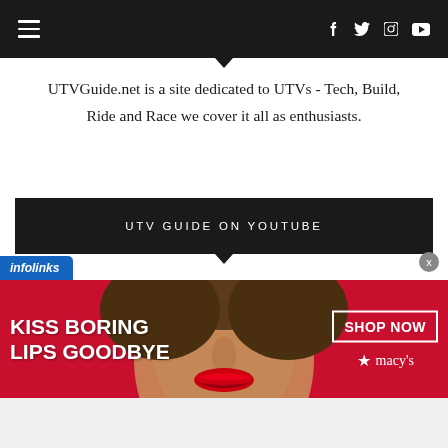Navigation bar with hamburger menu and social icons (Facebook, Twitter, Instagram, YouTube)
UTVGuide.net is a site dedicated to UTVs - Tech, Build, Ride and Race we cover it all as enthusiasts.
UTV GUIDE ON YOUTUBE
[Figure (infographic): Infolinks advertisement banner: 'KISS BORING LIPS GOODBYE' with woman face, SHOP NOW button, and Macy's star logo on red background]